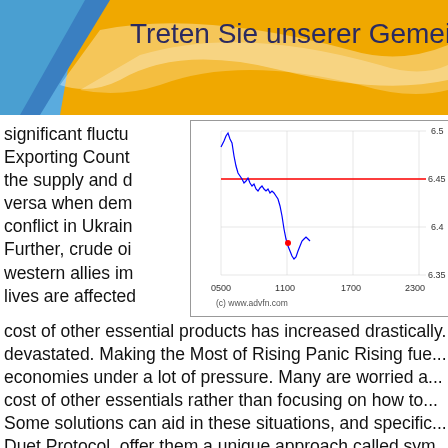Treten Sie unserer Gemeinschaft bei
significant fluctu... Exporting Count... the supply and d... versa when dem... conflict in Ukrain... Further, crude oi... western allies im... lives are affected...
[Figure (continuous-plot): Line chart showing price data with blue line and red horizontal line at approximately 6.45, with a red dot around 6.38. X-axis shows times 0500, 1100, 1700, 2300. Y-axis shows values 6.35, 6.4, 6.45, 6.5. Source: (c) www.advfn.com]
cost of other essential products has increased drastically. devastated. Making the Most of Rising Panic Rising fue... economies under a lot of pressure. Many are worried a... cost of other essentials rather than focusing on how to... Some solutions can aid in these situations, and specific... Duet Protocol, offer them a unique approach called sym... Users have to provide liquidity to the protocol, which wi... synthetic assets. For example, a user can provide liqui... dWTI, a synthetic asset whose price is pegged to WTI ... asset, users can earn rewards and other utilities within...